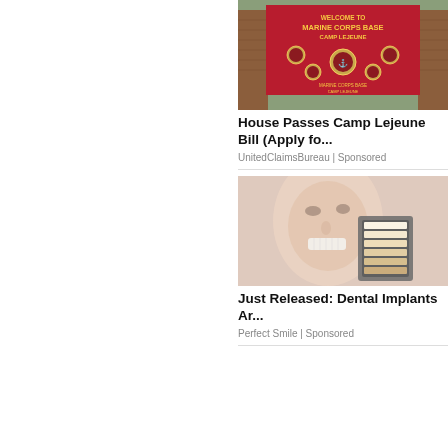[Figure (photo): Marine Corps Base Camp Lejeune welcome sign, red background with military emblems]
House Passes Camp Lejeune Bill (Apply fo...
UnitedClaimsBureau | Sponsored
[Figure (photo): Man smiling at dentist office with dental implant shade guide]
Just Released: Dental Implants Ar...
Perfect Smile | Sponsored